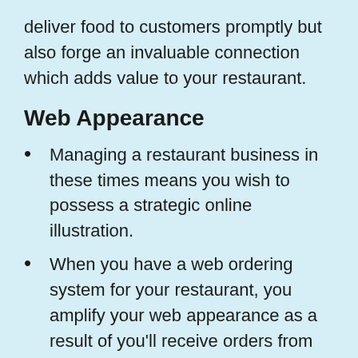deliver food to customers promptly but also forge an invaluable connection which adds value to your restaurant.
Web Appearance
Managing a restaurant business in these times means you wish to possess a strategic online illustration.
When you have a web ordering system for your restaurant, you amplify your web appearance as a result of you'll receive orders from your website/facebook page/mobile app directly to the kitchen.